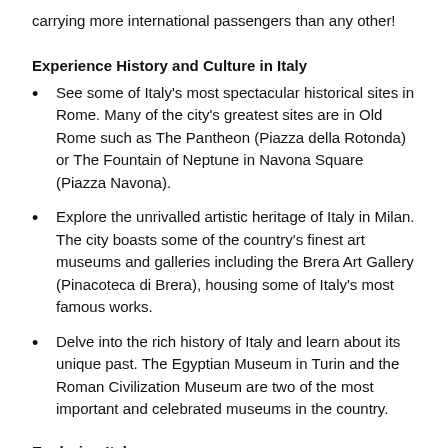carrying more international passengers than any other!
Experience History and Culture in Italy
See some of Italy's most spectacular historical sites in Rome. Many of the city's greatest sites are in Old Rome such as The Pantheon (Piazza della Rotonda) or The Fountain of Neptune in Navona Square (Piazza Navona).
Explore the unrivalled artistic heritage of Italy in Milan. The city boasts some of the country's finest art museums and galleries including the Brera Art Gallery (Pinacoteca di Brera), housing some of Italy's most famous works.
Delve into the rich history of Italy and learn about its unique past. The Egyptian Museum in Turin and the Roman Civilization Museum are two of the most important and celebrated museums in the country.
Exploring Italy
Although Italy is dominated by its heritage and culture, it also has spectacular natural beautiful. Spend a day on the beach by the clear, blue Mediterranean waters at Circe National Park (Parco Nazionale del Circeo)